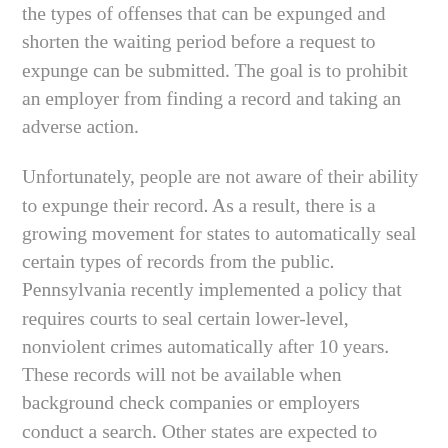the types of offenses that can be expunged and shorten the waiting period before a request to expunge can be submitted. The goal is to prohibit an employer from finding a record and taking an adverse action.
Unfortunately, people are not aware of their ability to expunge their record. As a result, there is a growing movement for states to automatically seal certain types of records from the public. Pennsylvania recently implemented a policy that requires courts to seal certain lower-level, nonviolent crimes automatically after 10 years. These records will not be available when background check companies or employers conduct a search. Other states are expected to follow Pennsylvania's lead.
“The Box” on the application that requests self-